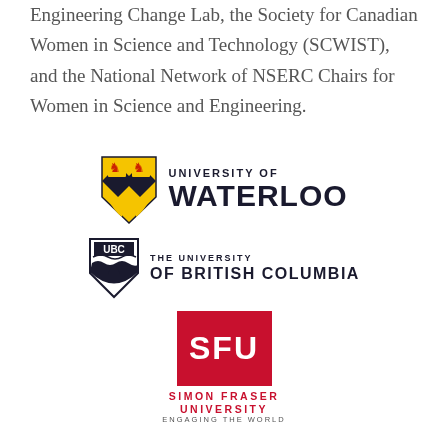Engineering Change Lab, the Society for Canadian Women in Science and Technology (SCWIST), and the National Network of NSERC Chairs for Women in Science and Engineering.
[Figure (logo): University of Waterloo logo with shield crest and bold text 'UNIVERSITY OF WATERLOO']
[Figure (logo): UBC logo with shield crest and text 'THE UNIVERSITY OF BRITISH COLUMBIA']
[Figure (logo): Simon Fraser University logo with red box containing 'SFU' and text 'SIMON FRASER UNIVERSITY ENGAGING THE WORLD']